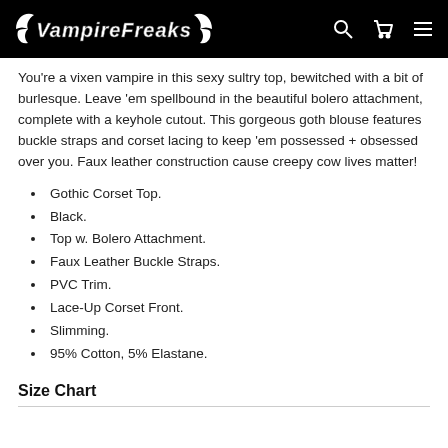VampireFreaks
You're a vixen vampire in this sexy sultry top, bewitched with a bit of burlesque. Leave 'em spellbound in the beautiful bolero attachment, complete with a keyhole cutout. This gorgeous goth blouse features buckle straps and corset lacing to keep 'em possessed + obsessed over you. Faux leather construction cause creepy cow lives matter!
Gothic Corset Top.
Black.
Top w. Bolero Attachment.
Faux Leather Buckle Straps.
PVC Trim.
Lace-Up Corset Front.
Slimming.
95% Cotton, 5% Elastane.
Size Chart